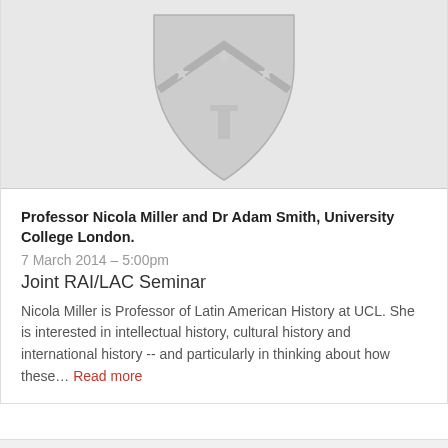[Figure (illustration): University crest/shield logo in gray on light gray background. Shield contains a chevron with three stars and a T-cross symbol below.]
Professor Nicola Miller and Dr Adam Smith, University College London.
7 March 2014 – 5:00pm
Joint RAI/LAC Seminar
Nicola Miller is Professor of Latin American History at UCL. She is interested in intellectual history, cultural history and international history -- and particularly in thinking about how these... Read more